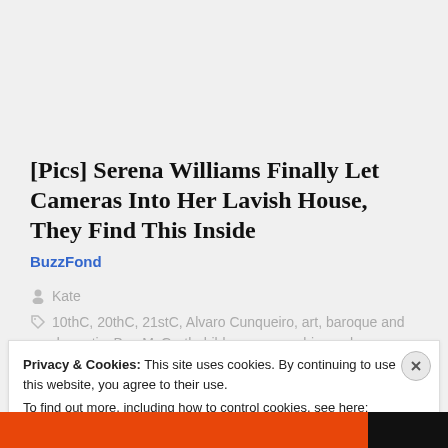[Pics] Serena Williams Finally Let Cameras Into Her Lavish House, They Find This Inside
BuzzFond
Kate
10thC, 20thC, 21stC, Alvaro Cunqueiro, art, baroque and dramatic, Ben McGrath, bildungsroman, biography,
Privacy & Cookies: This site uses cookies. By continuing to use this website, you agree to their use.
To find out more, including how to control cookies, see here: Cookie Policy
Close and accept